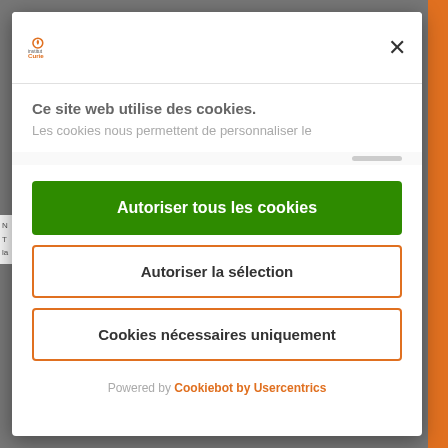[Figure (screenshot): Cookie consent modal dialog from Institut Curie website. The modal contains the Institut Curie logo in the top-left, a close button (X) in the top-right, a title 'Ce site web utilise des cookies.', a subtitle 'Les cookies nous permettent de personnaliser le', three action buttons: a green 'Autoriser tous les cookies' button, an orange-outlined 'Autoriser la sélection' button, and an orange-outlined 'Cookies nécessaires uniquement' button, and a footer 'Powered by Cookiebot by Usercentrics'.]